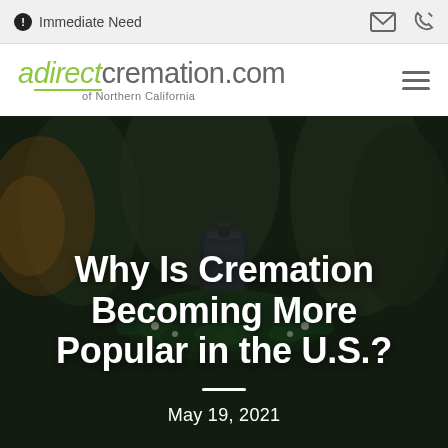Immediate Need
[Figure (logo): adirectcremation.com of Northern California logo with green italic text and underline accent]
[Figure (photo): Blurred background photo of a funeral cremation urn surrounded by green floral wreath with people in background]
Why Is Cremation Becoming More Popular in the U.S.?
May 19, 2021